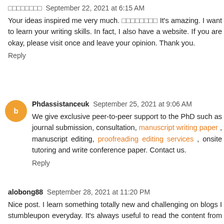□□□□□□□□  September 22, 2021 at 6:15 AM
Your ideas inspired me very much. □□□□□□□□ It's amazing. I want to learn your writing skills. In fact, I also have a website. If you are okay, please visit once and leave your opinion. Thank you.
Reply
Phdassistanceuk  September 25, 2021 at 9:06 AM
We give exclusive peer-to-peer support to the PhD such as journal submission, consultation, manuscript writing paper , manuscript editing, proofreading editing services , onsite tutoring and write conference paper. Contact us.
Reply
alobong88  September 28, 2021 at 11:20 PM
Nice post. I learn something totally new and challenging on blogs I stumbleupon everyday. It's always useful to read the content from the authors and something from...